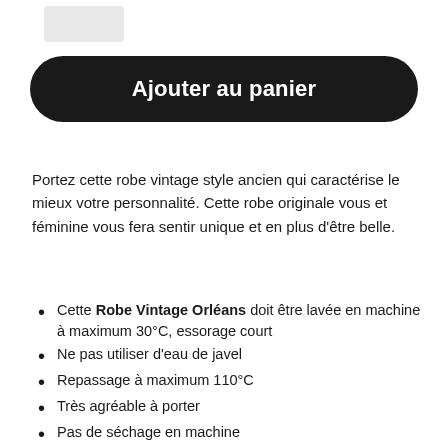[Figure (other): Small gray rectangular placeholder image in top-left area]
Ajouter au panier
Portez cette robe vintage style ancien qui caractérise le mieux votre personnalité. Cette robe originale vous et féminine vous fera sentir unique et en plus d'être belle.
Cette Robe Vintage Orléans doit être lavée en machine à maximum 30°C, essorage court
Ne pas utiliser d'eau de javel
Repassage à maximum 110°C
Très agréable à porter
Pas de séchage en machine
Coutures haut de gamme